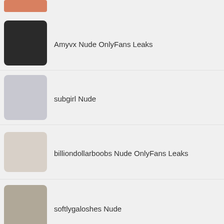(partial top entry)
Amyvx Nude OnlyFans Leaks
subgirl Nude
billiondollarboobs Nude OnlyFans Leaks
softlygaloshes Nude